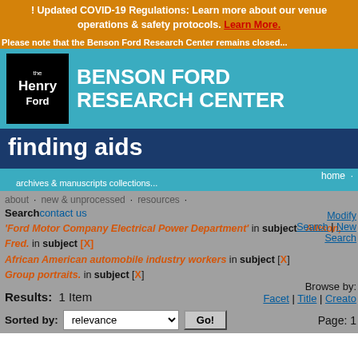! Updated COVID-19 Regulations: Learn more about our venue operations & safety protocols. Learn More.
[Figure (logo): The Henry Ford logo (white text on black square) next to 'BENSON FORD RESEARCH CENTER' text on teal background]
finding aids
home · about · new & unprocessed · resources · contact us
'Ford Motor Company Electrical Power Department' in subject  Allison, Fred. in subject [X]  African American automobile industry workers in subject [X]  Group portraits. in subject [X]
Results:  1 Item
Sorted by: relevance  Go!
Browse by: Facet | Title | Creator  Page: 1